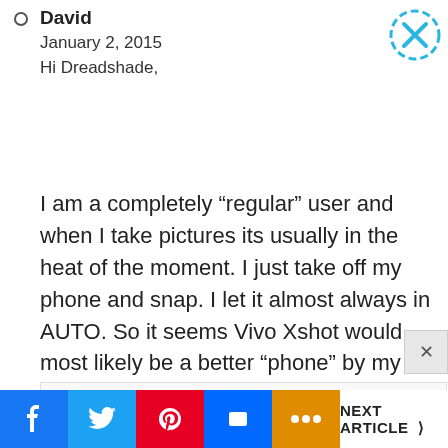David
January 2, 2015
Hi Dreadshade,

I am a completely “regular” user and when I take pictures its usually in the heat of the moment. I just take off my phone and snap. I let it almost always in AUTO. So it seems Vivo Xshot would most likely be a better “phone” by my criteria, but the pros are too slight while the difference of price an
[Figure (screenshot): Advertisement for Sterling store: logo with 'cm', OPEN, 10AM-9PM, 45210 Towlern Place, Sterling, navigation arrow icon]
NEXT ARTICLE >